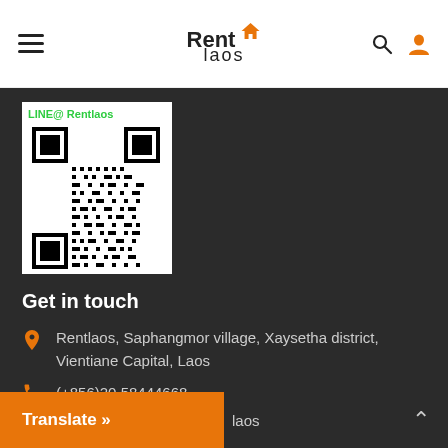Rent laos — navigation header with hamburger menu, logo, search and user icons
[Figure (other): QR code for LINE@ Rentlaos]
Get in touch
Rentlaos, Saphangmor village, Xaysetha district, Vientiane Capital, Laos
(+856)20 58444668
rentinlaos@gmail.com
laos
Translate »